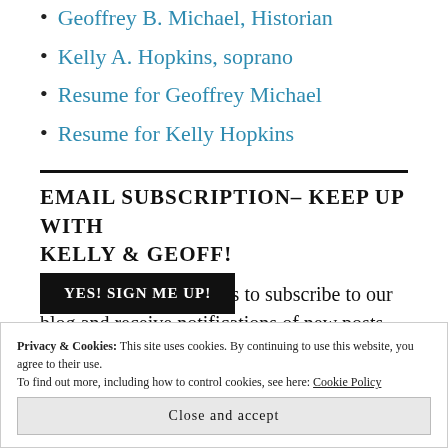Geoffrey B. Michael, Historian
Kelly A. Hopkins, soprano
Resume for Geoffrey Michael
Resume for Kelly Hopkins
EMAIL SUBSCRIPTION– KEEP UP WITH KELLY & GEOFF!
Enter your email address to subscribe to our blog and receive notifications of new posts by email.
Privacy & Cookies: This site uses cookies. By continuing to use this website, you agree to their use. To find out more, including how to control cookies, see here: Cookie Policy
Close and accept
YES! SIGN ME UP!